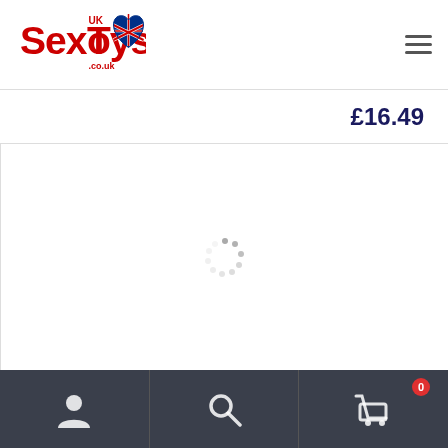[Figure (logo): UKSexToys.co.uk logo with red text and Union Jack heart symbol]
£16.49
[Figure (other): Loading spinner (animated dots circle)]
[Figure (other): Footer bar with user account icon, search icon, and shopping cart icon with badge showing 0]